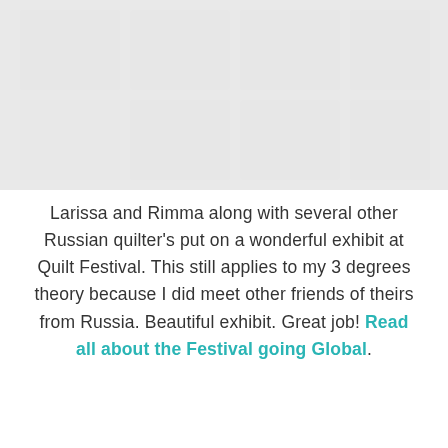[Figure (photo): Faded/watermark background photo of quilts or quilt festival, shown in light gray tones at the top of the page]
Larissa and Rimma along with several other Russian quilter’s put on a wonderful exhibit at Quilt Festival. This still applies to my 3 degrees theory because I did meet other friends of theirs from Russia. Beautiful exhibit. Great job! Read all about the Festival going Global.